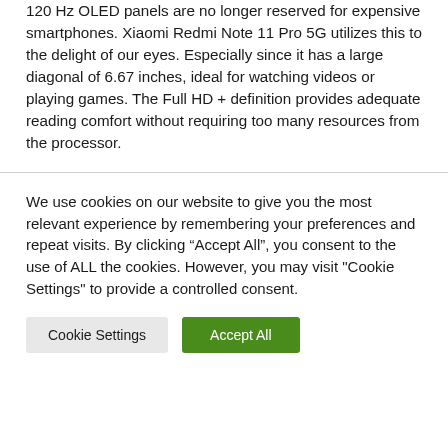120 Hz OLED panels are no longer reserved for expensive smartphones. Xiaomi Redmi Note 11 Pro 5G utilizes this to the delight of our eyes. Especially since it has a large diagonal of 6.67 inches, ideal for watching videos or playing games. The Full HD + definition provides adequate reading comfort without requiring too many resources from the processor.
We use cookies on our website to give you the most relevant experience by remembering your preferences and repeat visits. By clicking “Accept All”, you consent to the use of ALL the cookies. However, you may visit "Cookie Settings" to provide a controlled consent.